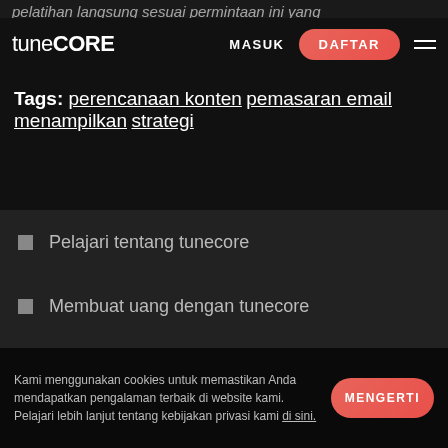pelatihan langsung sesuai permintaan ini yang
tuneCORE  MASUK  DAFTAR
Tags: perencanaan konten pemasaran email menampilkan strategi
Pelajari tentang tunecore
Membuat uang dengan tunecore
Komunitas tunecore Community
Kami menggunakan cookies untuk memastikan Anda mendapatkan pengalaman terbaik di website kami. Pelajari lebih lanjut tentang kebijakan privasi kami di sini.